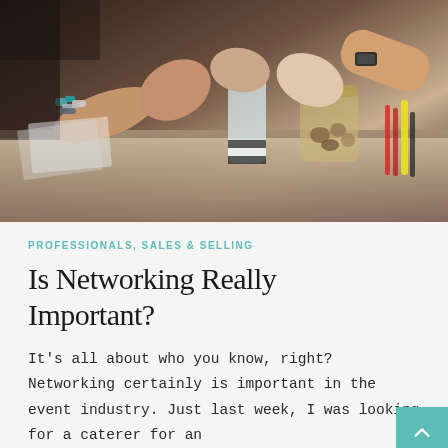[Figure (photo): Multiple people doing a group fist bump over a table with a water bottle, a glass jar with snacks, and pencils/markers. People are wearing various bracelets and watches.]
PROFESSIONALS, SALES & SELLING
Is Networking Really Important?
It's all about who you know, right? Networking certainly is important in the event industry. Just last week, I was looking for a caterer for an